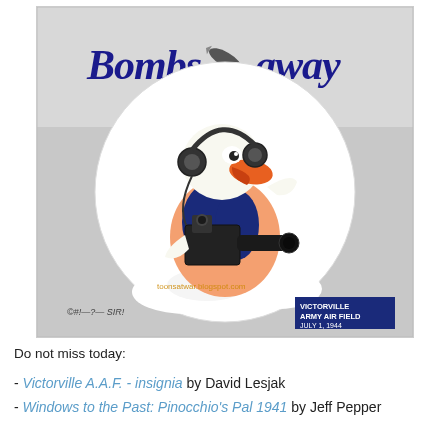[Figure (illustration): Cover of 'Bombs Away' magazine/program from Victorville Army Air Field, July 1, 1944. Features cartoon duck (similar to Donald Duck) wearing headphones and operating a bombing sight/camera, sitting on clouds. Title 'Bombs Away' in blue script at top with a bomb through the 'O'. Small label in bottom right reads 'VICTORVILLE ARMY AIR FIELD JULY 1, 1944'. Bottom left shows '©#!—?— SIR!' text. Watermark 'toonsatwar.blogspot.com' visible.]
Do not miss today:
- Victorville A.A.F. - insignia by David Lesjak
- Windows to the Past: Pinocchio's Pal 1941 by Jeff Pepper